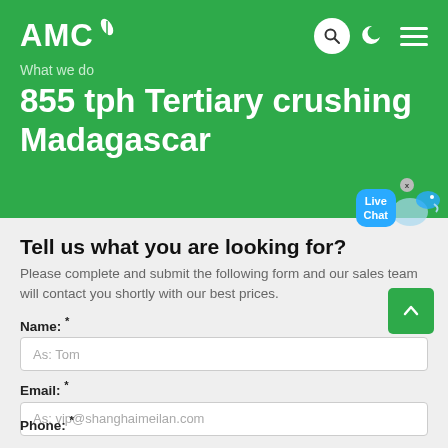AMC
What we do
855 tph Tertiary crushing Madagascar
Tell us what you are looking for?
Please complete and submit the following form and our sales team will contact you shortly with our best prices.
Name: *
As: Tom
Email: *
As: vip@shanghaimeilan.com
Phone: *